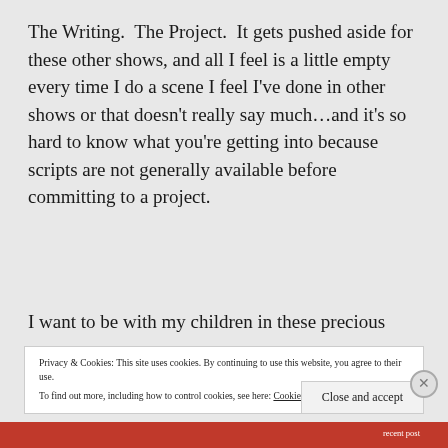The Writing.  The Project.  It gets pushed aside for these other shows, and all I feel is a little empty every time I do a scene I feel I've done in other shows or that doesn't really say much…and it's so hard to know what you're getting into because scripts are not generally available before committing to a project.
I want to be with my children in these precious
Privacy & Cookies: This site uses cookies. By continuing to use this website, you agree to their use.
To find out more, including how to control cookies, see here: Cookie Policy
Close and accept